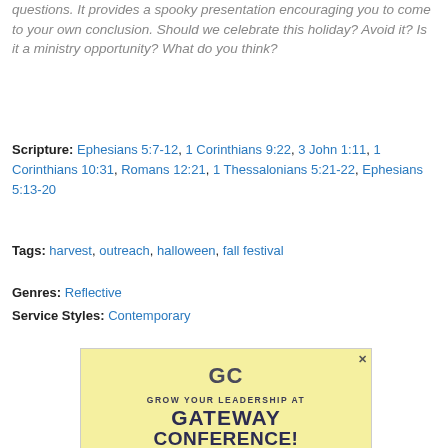questions. It provides a spooky presentation encouraging you to come to your own conclusion. Should we celebrate this holiday? Avoid it? Is it a ministry opportunity? What do you think?
Scripture: Ephesians 5:7-12, 1 Corinthians 9:22, 3 John 1:11, 1 Corinthians 10:31, Romans 12:21, 1 Thessalonians 5:21-22, Ephesians 5:13-20
Tags: harvest, outreach, halloween, fall festival
Genres: Reflective
Service Styles: Contemporary
[Figure (infographic): Advertisement for Gateway Conference with GC logo, text 'GROW YOUR LEADERSHIP AT GATEWAY CONFERENCE! SEP 26-27, 2022' on a yellow background with a sunset/mountain scenic at the bottom.]